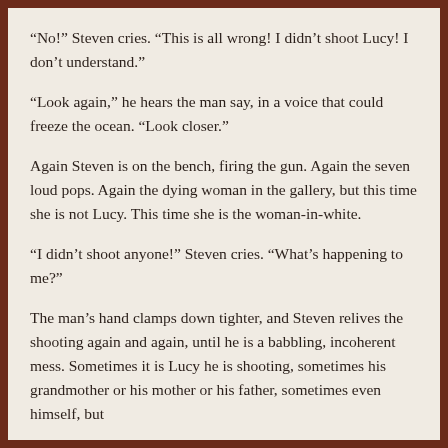“No!” Steven cries. “This is all wrong! I didn’t shoot Lucy! I don’t understand.”
“Look again,” he hears the man say, in a voice that could freeze the ocean. “Look closer.”
Again Steven is on the bench, firing the gun. Again the seven loud pops. Again the dying woman in the gallery, but this time she is not Lucy. This time she is the woman-in-white.
“I didn’t shoot anyone!” Steven cries. “What’s happening to me?”
The man’s hand clamps down tighter, and Steven relives the shooting again and again, until he is a babbling, incoherent mess. Sometimes it is Lucy he is shooting, sometimes his grandmother or his mother or his father, sometimes even himself, but